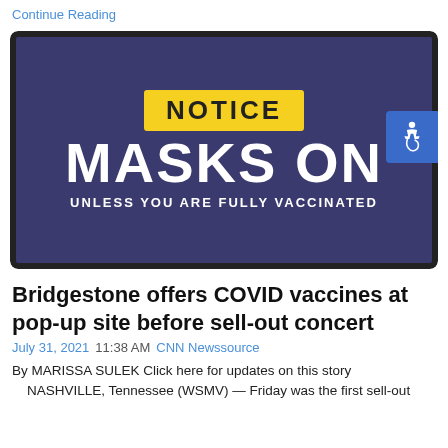Continue Reading
[Figure (photo): A sign on a dark blue/purple background with a yellow box reading NOTICE, large white bold text reading MASKS ON, and smaller white text reading UNLESS YOU ARE FULLY VACCINATED. An accessibility symbol badge appears on the right edge.]
Bridgestone offers COVID vaccines at pop-up site before sell-out concert
July 31, 2021  11:38 AM  CNN Newssource
By MARISSA SULEK Click here for updates on this story NASHVILLE, Tennessee (WSMV) — Friday was the first sell-out